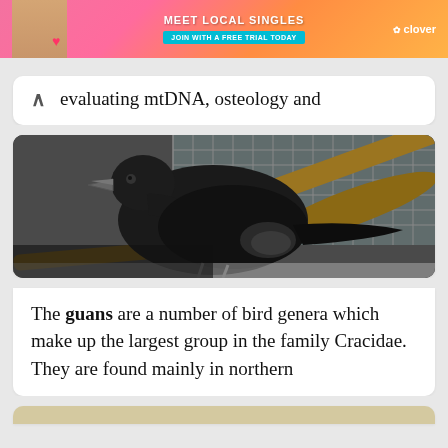[Figure (photo): Advertisement banner for Clover dating app with woman and pink/orange gradient background, 'JOIN WITH A FREE TRIAL TODAY' button]
evaluating mtDNA, osteology and
[Figure (photo): A black guan bird (family Cracidae) perched in what appears to be a cage or enclosure with wire mesh visible in the background]
The guans are a number of bird genera which make up the largest group in the family Cracidae. They are found mainly in northern